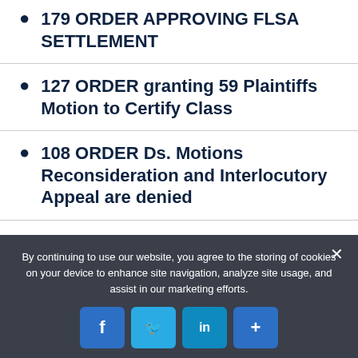179 ORDER APPROVING FLSA SETTLEMENT
127 ORDER granting 59 Plaintiffs Motion to Certify Class
108 ORDER Ds. Motions Reconsideration and Interlocutory Appeal are denied
60 MEMORANDUM in Support re 59 MOTION to Certify Class
By continuing to use our website, you agree to the storing of cookies on your device to enhance site navigation, analyze site usage, and assist in our marketing efforts.